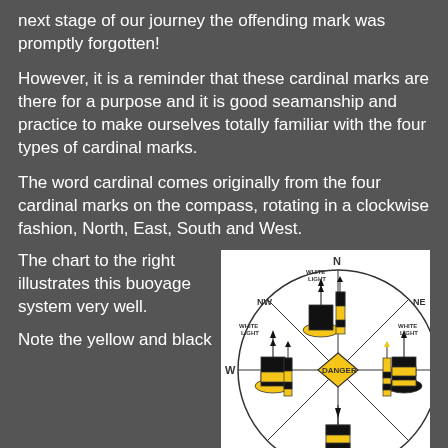next stage of our journey the offending mark was promptly forgotten!
However, it is a reminder that these cardinal marks are there for a purpose and it is good seamanship and practice to make ourselves totally familiar with the four types of cardinal marks.
The word cardinal comes originally from the four cardinal marks on the compass, rotating in a clockwise fashion, North, East, South and West.
The chart to the right illustrates this buoyage system very well.
[Figure (illustration): Compass rose diagram showing four cardinal buoy marks (North, East, South, West) with yellow and black buoys, white lights labeled, and a central DANGER diamond marker. Labels: N, NE, NW, E, W, WHITE LIGHT (x4), DANGER.]
Note the yellow and black